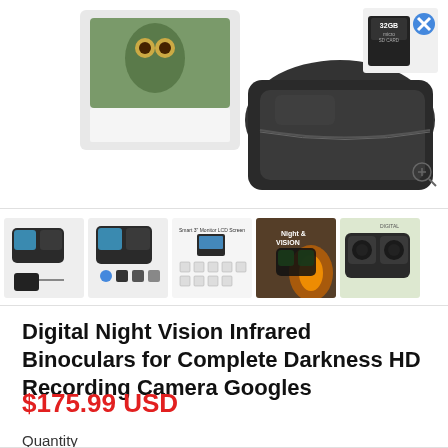[Figure (photo): Main product photo showing digital night vision binoculars product box and black carrying case, with a 32GB micro SD card thumbnail in upper right corner]
[Figure (photo): Row of 5 product thumbnail images showing night vision binoculars from different angles and feature callout graphics]
Digital Night Vision Infrared Binoculars for Complete Darkness HD Recording Camera Googles
$175.99 USD
Quantity